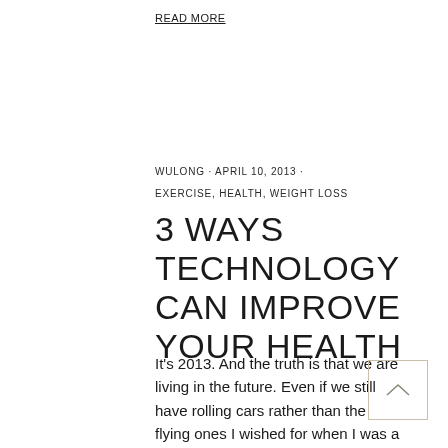READ MORE
WULONG · APRIL 10, 2013 ·
EXERCISE, HEALTH, WEIGHT LOSS
3 WAYS TECHNOLOGY CAN IMPROVE YOUR HEALTH
It's 2013. And the truth is that we are living in the future. Even if we still have rolling cars rather than the flying ones I wished for when I was a kid (thanks to the Jetsons). Technology is everywhere, and ideas ...